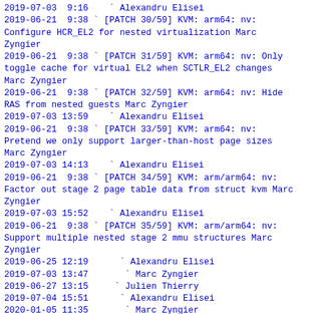2019-07-03  9:16    ` Alexandru Elisei
2019-06-21  9:38 ` [PATCH 30/59] KVM: arm64: nv: Configure HCR_EL2 for nested virtualization Marc Zyngier
2019-06-21  9:38 ` [PATCH 31/59] KVM: arm64: nv: Only toggle cache for virtual EL2 when SCTLR_EL2 changes Marc Zyngier
2019-06-21  9:38 ` [PATCH 32/59] KVM: arm64: nv: Hide RAS from nested guests Marc Zyngier
2019-07-03 13:59    ` Alexandru Elisei
2019-06-21  9:38 ` [PATCH 33/59] KVM: arm64: nv: Pretend we only support larger-than-host page sizes Marc Zyngier
2019-07-03 14:13    ` Alexandru Elisei
2019-06-21  9:38 ` [PATCH 34/59] KVM: arm/arm64: nv: Factor out stage 2 page table data from struct kvm Marc Zyngier
2019-07-03 15:52    ` Alexandru Elisei
2019-06-21  9:38 ` [PATCH 35/59] KVM: arm/arm64: nv: Support multiple nested stage 2 mmu structures Marc Zyngier
2019-06-25 12:19      ` Alexandru Elisei
2019-07-03 13:47       ` Marc Zyngier
2019-06-27 13:15     ` Julien Thierry
2019-07-04 15:51      ` Alexandru Elisei
2020-01-05 11:35       ` Marc Zyngier
2020-01-06 16:31        ` Alexandru Elisei
2019-06-21  9:38 ` [PATCH 36/59] KVM: arm64: nv: Implement nested Stage-2 page table walk logic Marc Zyngier